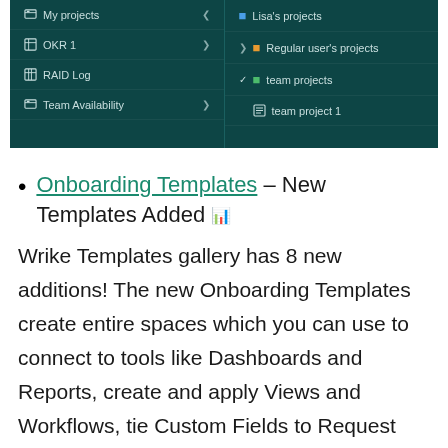[Figure (screenshot): Dark teal navigation panel showing two columns. Left column: My projects (with left arrow), OKR 1 (with right arrow), RAID Log, Team Availability (with right arrow). Right column: Lisa's projects (blue folder), Regular user's projects (orange folder, with expand arrow), team projects (green folder, with check arrow), team project 1 (document icon).]
Onboarding Templates – New Templates Added 🗂
Wrike Templates gallery has 8 new additions! The new Onboarding Templates create entire spaces which you can use to connect to tools like Dashboards and Reports, create and apply Views and Workflows, tie Custom Fields to Request Forms, and much more. Here are some of